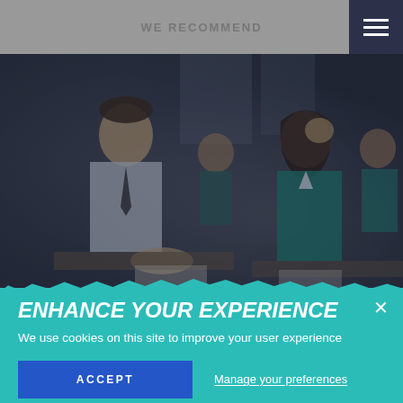WE RECOMMEND
[Figure (photo): Students in school uniforms sitting at desks in a classroom, working. Dark overlay on photo.]
INFORMATION FOR CURRENT PARENTS
ENHANCE YOUR EXPERIENCE
We use cookies on this site to improve your user experience
ACCEPT
Manage your preferences